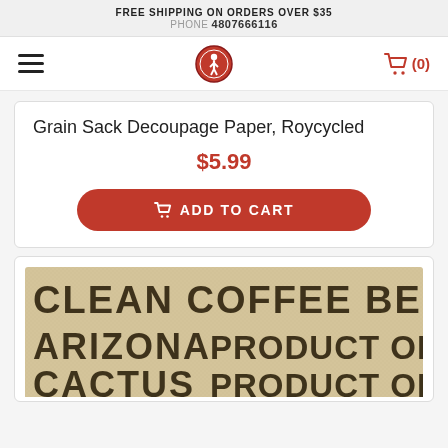FREE SHIPPING ON ORDERS OVER $35
PHONE 4807666116
[Figure (logo): Navigation bar with hamburger menu icon, store logo (circular badge with figure), and shopping cart icon showing (0)]
Grain Sack Decoupage Paper, Roycycled
$5.99
ADD TO CART
[Figure (photo): Grain sack decoupage paper with bold stencil-style text reading: CLEAN COFFEE BEAN / ARIZONA PRODUCT OF * / CACTUS PRODUCT OF *]